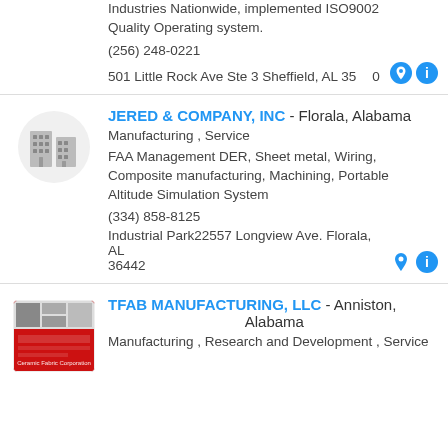Industries Nationwide, implemented ISO9002 Quality Operating system.
(256) 248-0221
501 Little Rock Ave Ste 3 Sheffield, AL 35960
JERED & COMPANY, INC - Florala, Alabama
Manufacturing , Service
FAA Management DER, Sheet metal, Wiring, Composite manufacturing, Machining, Portable Altitude Simulation System
(334) 858-8125
Industrial Park22557 Longview Ave. Florala, AL 36442
TFAB MANUFACTURING, LLC - Anniston, Alabama
Manufacturing , Research and Development , Service